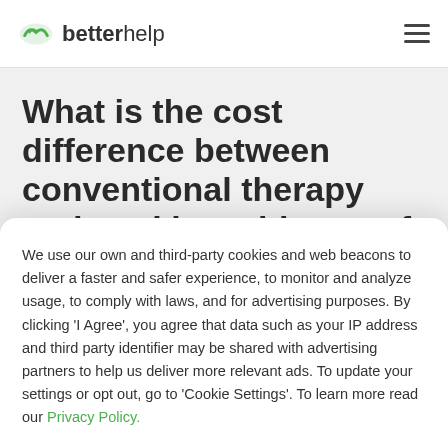betterhelp
What is the cost difference between conventional therapy and working with one of our listed therapists
We use our own and third-party cookies and web beacons to deliver a faster and safer experience, to monitor and analyze usage, to comply with laws, and for advertising purposes. By clicking 'I Agree', you agree that data such as your IP address and third party identifier may be shared with advertising partners to help us deliver more relevant ads. To update your settings or opt out, go to 'Cookie Settings'. To learn more read our Privacy Policy.